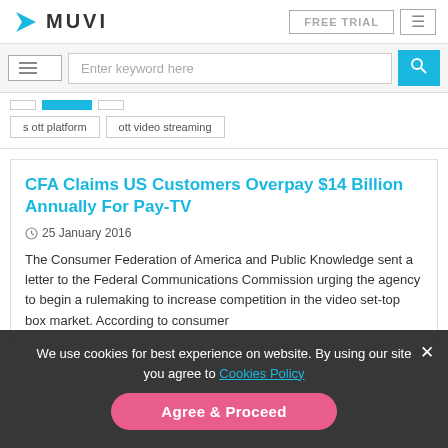MUVI — FREE TRIAL
Enter keyword here
s ott platform
ott video streaming
CFA Claims US Customers Overpay $14 Billion Annually For Pay-TV
25 January 2016
The Consumer Federation of America and Public Knowledge sent a letter to the Federal Communications Commission urging the agency to begin a rulemaking to increase competition in the video set-top box market. According to consumer
We use cookies for best experience on website. By using our site you agree to Cookies Policy
Agree & Proceed